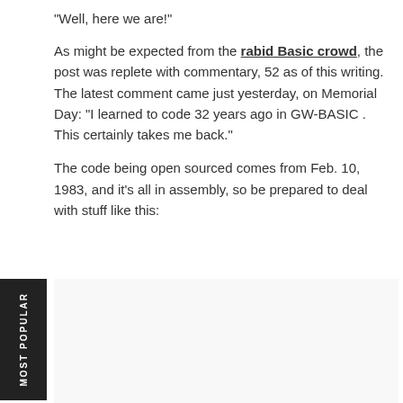"Well, here we are!"
As might be expected from the rabid Basic crowd, the post was replete with commentary, 52 as of this writing. The latest comment came just yesterday, on Memorial Day: "I learned to code 32 years ago in GW-BASIC . This certainly takes me back."
The code being open sourced comes from Feb. 10, 1983, and it's all in assembly, so be prepared to deal with stuff like this:
[Figure (other): Advertisement banner for 'New Podcast with John K. Waters' on a cyan/teal background with a person's photo and 'DEV' text partially visible]